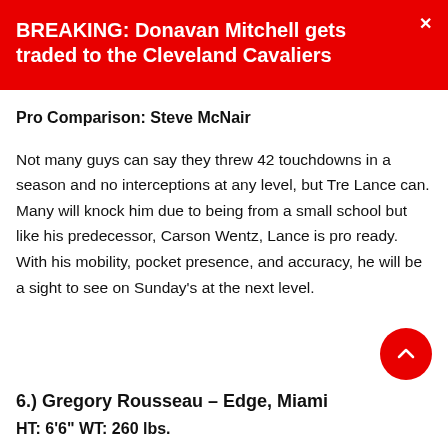BREAKING: Donavan Mitchell gets traded to the Cleveland Cavaliers
Pro Comparison: Steve McNair
Not many guys can say they threw 42 touchdowns in a season and no interceptions at any level, but Tre Lance can. Many will knock him due to being from a small school but like his predecessor, Carson Wentz, Lance is pro ready. With his mobility, pocket presence, and accuracy, he will be a sight to see on Sunday's at the next level.
6.) Gregory Rousseau – Edge, Miami
HT: 6'6" WT: 260 lbs.